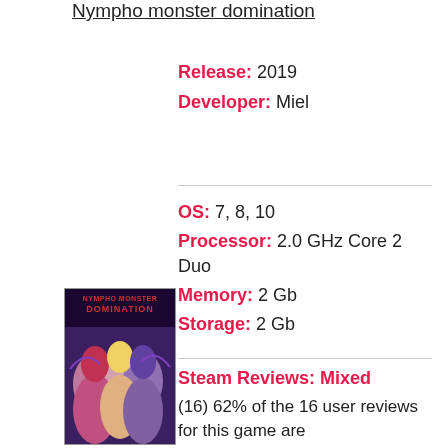Nympho monster domination
Release: 2019
Developer: Miel
OS: 7, 8, 10
Processor: 2.0 GHz Core 2 Duo
Memory: 2 Gb
Storage: 2 Gb
[Figure (illustration): Game cover art for Nympho Monster Domination showing anime-style monster girl characters]
Steam Reviews: Mixed
(16) 62% of the 16 user reviews for this game are